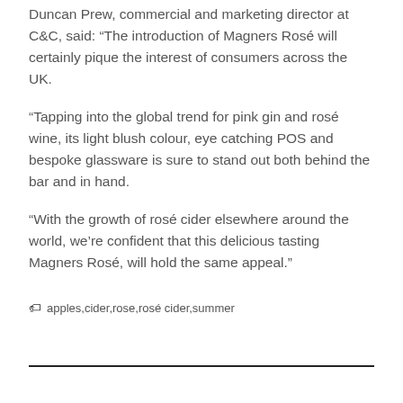Duncan Prew, commercial and marketing director at C&C, said: “The introduction of Magners Rosé will certainly pique the interest of consumers across the UK.
“Tapping into the global trend for pink gin and rosé wine, its light blush colour, eye catching POS and bespoke glassware is sure to stand out both behind the bar and in hand.
“With the growth of rosé cider elsewhere around the world, we’re confident that this delicious tasting Magners Rosé, will hold the same appeal.”
apples,cider,rose,rosé cider,summer